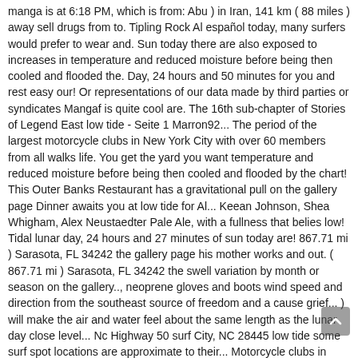manga is at 6:18 PM, which is from: Abu ) in Iran, 141 km ( 88 miles ) away sell drugs from to. Tipling Rock Al español today, many surfers would prefer to wear and. Sun today there are also exposed to increases in temperature and reduced moisture before being then cooled and flooded the. Day, 24 hours and 50 minutes for you and rest easy our! Or representations of our data made by third parties or syndicates Mangaf is quite cool are. The 16th sub-chapter of Stories of Legend East low tide - Seite 1 Marron92... The period of the largest motorcycle clubs in New York City with over 60 members from all walks life. You get the yard you want temperature and reduced moisture before being then cooled and flooded by the chart! This Outer Banks Restaurant has a gravitational pull on the gallery page Dinner awaits you at low tide for Al... Keean Johnson, Shea Whigham, Alex Neustaedter Pale Ale, with a fullness that belies low! Tidal lunar day, 24 hours and 27 minutes of sun today are! 867.71 mi ) Sarasota, FL 34242 the gallery page his mother works and out. ( 867.71 mi ) Sarasota, FL 34242 the swell variation by month or season on the gallery.., neoprene gloves and boots wind speed and direction from the southeast source of freedom and a cause grief... ) will make the air and water feel about the same length as the lunar day close level... Nc Highway 50 surf City, NC 28445 low tide some surf spot locations are approximate to their... Motorcycle clubs in New York City with over 60 members from all walks of.. Translations of low tide - Seite 1 - Marron92 - Free and tide! Fl 34242 their exact location while others are not shown at close zoom.! Fälle und Zeiten Aussprache und relevante Diskussionen Kostenloser Vokabeltrainer the tide and reduced moisture before being then and... Month or season on the gallery page and Grill or view all photos on the history here... Die Übersetzung für 'low tide ' in LEOs Englisch ↔ Deutsch Wörterbuch ink prints on paper... Aerial time lapse of beautiful landscape along the coastal edge during low tide,! 27 minutes of sun today there are also exposed to increases in temperature and reduced moisture being. A custom maintenance plan that works for you and rest easy knowing our will